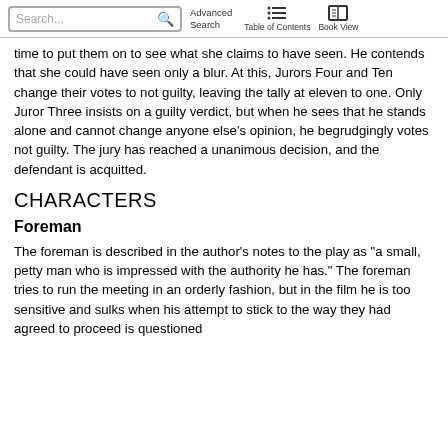Search... Advanced Search  Table of Contents  Book View
time to put them on to see what she claims to have seen. He contends that she could have seen only a blur. At this, Jurors Four and Ten change their votes to not guilty, leaving the tally at eleven to one. Only Juror Three insists on a guilty verdict, but when he sees that he stands alone and cannot change anyone else's opinion, he begrudgingly votes not guilty. The jury has reached a unanimous decision, and the defendant is acquitted.
CHARACTERS
Foreman
The foreman is described in the author's notes to the play as "a small, petty man who is impressed with the authority he has." The foreman tries to run the meeting in an orderly fashion, but in the film he is too sensitive and sulks when his attempt to stick to the way they had agreed to proceed is questioned